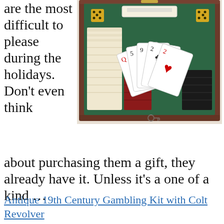are the most difficult to please during the holidays. Don't even think about purchasing them a gift, they already have it. Unless it's a one of a kind ...
[Figure (photo): An open antique wooden box containing a 19th century gambling kit: poker chips in cream, red, and black stacked in rows, playing cards fanned out showing a flush hand with hearts, two yellow dice, and a small key hanging from the front latch. The interior is lined with green felt/velvet.]
Antique 19th Century Gambling Kit with Colt Revolver